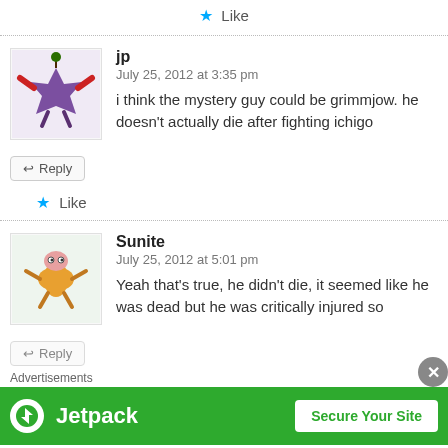Like
jp
July 25, 2012 at 3:35 pm
i think the mystery guy could be grimmjow. he doesn't actually die after fighting ichigo
Like
Sunite
July 25, 2012 at 5:01 pm
Yeah that's true, he didn't die, it seemed like he was dead but he was critically injured so
Advertisements
[Figure (logo): Jetpack advertisement banner with green background, Jetpack logo and 'Secure Your Site' button]